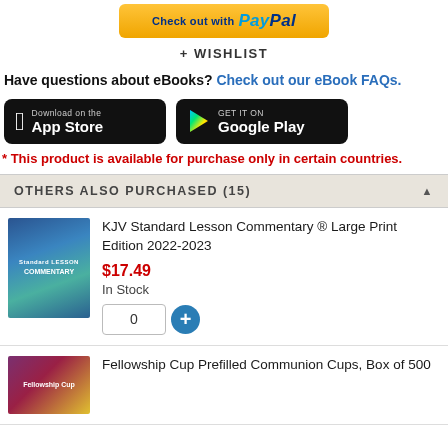[Figure (other): PayPal checkout button (gold/yellow)]
+ WISHLIST
Have questions about eBooks? Check out our eBook FAQs.
[Figure (other): Download on the App Store button (black)]
[Figure (other): GET IT ON Google Play button (black)]
* This product is available for purchase only in certain countries.
OTHERS ALSO PURCHASED (15)
[Figure (other): Book cover: KJV Standard Lesson Commentary Large Print Edition 2022-2023]
KJV Standard Lesson Commentary ® Large Print Edition 2022-2023
$17.49
In Stock
[Figure (other): Book cover: Fellowship Cup Prefilled Communion Cups, Box of 500]
Fellowship Cup Prefilled Communion Cups, Box of 500